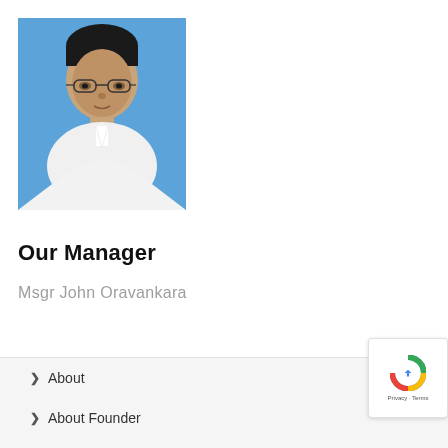[Figure (photo): Portrait photo of a middle-aged man wearing glasses and a white collar shirt, against a blue background]
Our Manager
Msgr John Oravankara
About
About Founder